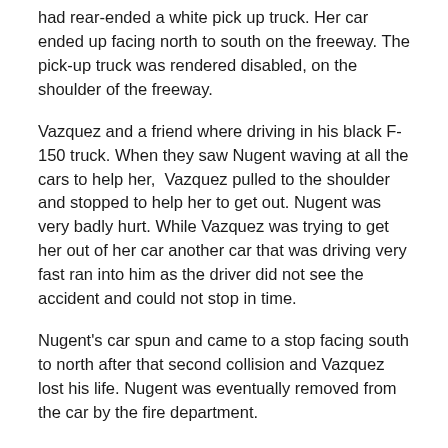had rear-ended a white pick up truck. Her car ended up facing north to south on the freeway. The pick-up truck was rendered disabled, on the shoulder of the freeway.
Vazquez and a friend where driving in his black F-150 truck. When they saw Nugent waving at all the cars to help her, Vazquez pulled to the shoulder and stopped to help her to get out. Nugent was very badly hurt. While Vazquez was trying to get her out of her car another car that was driving very fast ran into him as the driver did not see the accident and could not stop in time.
Nugent's car spun and came to a stop facing south to north after that second collision and Vazquez lost his life. Nugent was eventually removed from the car by the fire department.
The fire department crew that first arrived at the scene of the three-vehicle collision found that the accident began with a disabled car on the shoulder.